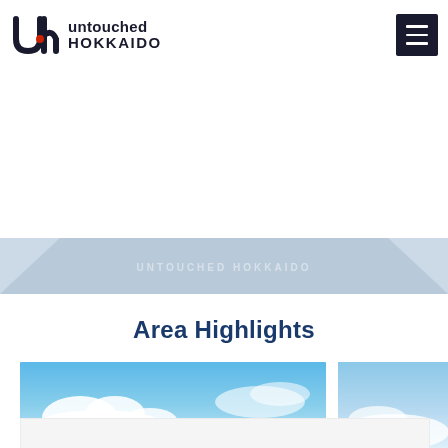untouched HOKKAIDO
[Figure (logo): Untouched Hokkaido logo with stylized 'uh' icon in dark navy and red, followed by text 'untouched' and 'HOKKAIDO' in dark navy bold font]
[Figure (illustration): Decorative banner section with light steel blue background and chevron/arrow shapes on left and right sides, with faint text overlay]
Area Highlights
[Figure (photo): Photograph showing a blue sky with white clouds, partial view of landscape]